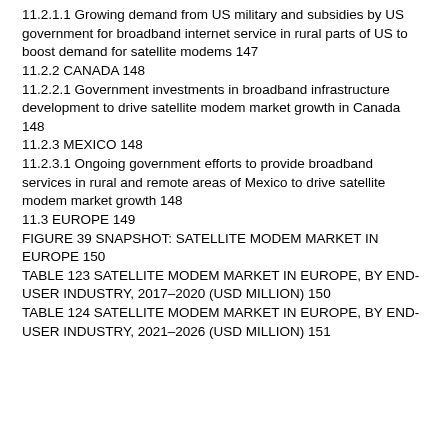11.2.1.1 Growing demand from US military and subsidies by US government for broadband internet service in rural parts of US to boost demand for satellite modems 147
11.2.2 CANADA 148
11.2.2.1 Government investments in broadband infrastructure development to drive satellite modem market growth in Canada 148
11.2.3 MEXICO 148
11.2.3.1 Ongoing government efforts to provide broadband services in rural and remote areas of Mexico to drive satellite modem market growth 148
11.3 EUROPE 149
FIGURE 39 SNAPSHOT: SATELLITE MODEM MARKET IN EUROPE 150
TABLE 123 SATELLITE MODEM MARKET IN EUROPE, BY END-USER INDUSTRY, 2017–2020 (USD MILLION) 150
TABLE 124 SATELLITE MODEM MARKET IN EUROPE, BY END-USER INDUSTRY, 2021–2026 (USD MILLION) 151